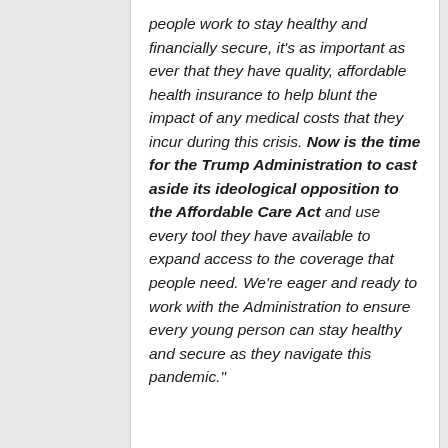people work to stay healthy and financially secure, it's as important as ever that they have quality, affordable health insurance to help blunt the impact of any medical costs that they incur during this crisis. Now is the time for the Trump Administration to cast aside its ideological opposition to the Affordable Care Act and use every tool they have available to expand access to the coverage that people need. We're eager and ready to work with the Administration to ensure every young person can stay healthy and secure as they navigate this pandemic."